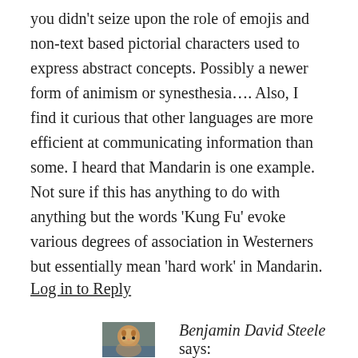you didn't seize upon the role of emojis and non-text based pictorial characters used to express abstract concepts. Possibly a newer form of animism or synesthesia…. Also, I find it curious that other languages are more efficient at communicating information than some. I heard that Mandarin is one example. Not sure if this has anything to do with anything but the words 'Kung Fu' evoke various degrees of association in Westerners but essentially mean 'hard work' in Mandarin.
Log in to Reply
[Figure (photo): Small avatar/thumbnail photo of a cat or person with orange/brown tones]
Benjamin David Steele says: